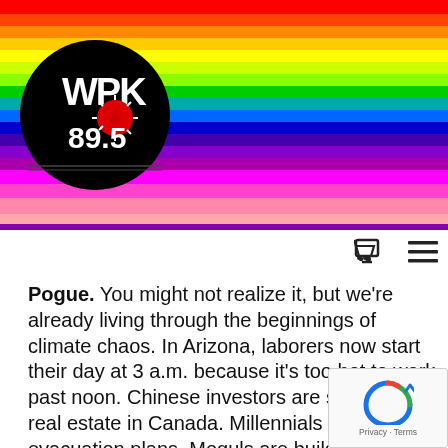[Figure (logo): WKPK 89.5 radio station logo — black circle with stylized white text and red starburst design, surrounded by rainbow horizontal stripes in the header]
Pogue. You might not realize it, but we're already living through the beginnings of climate chaos. In Arizona, laborers now start their day at 3 a.m. because it's too hot to work past noon. Chinese investors are snapping up real estate in Canada. Millennials have evacuation plans. Moguls are building bunkers. Retirees in Miami are moving inland. In How to Prepare for Climate Change, bestselling self-help author David Pogue offers sensible, deeply researched advice for how the rest of us should start to ready ourselves for the years ahead. Pogue walks readers